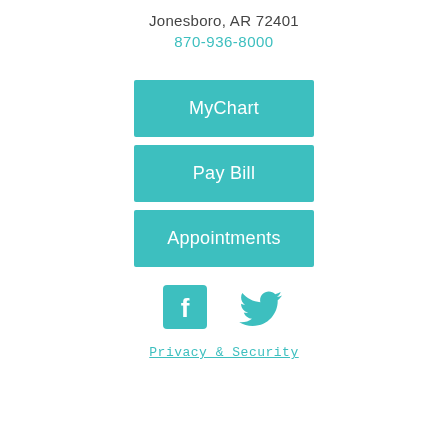Jonesboro, AR 72401
870-936-8000
[Figure (infographic): MyChart teal button]
[Figure (infographic): Pay Bill teal button]
[Figure (infographic): Appointments teal button]
[Figure (infographic): Facebook and Twitter social media icons in teal]
Privacy & Security